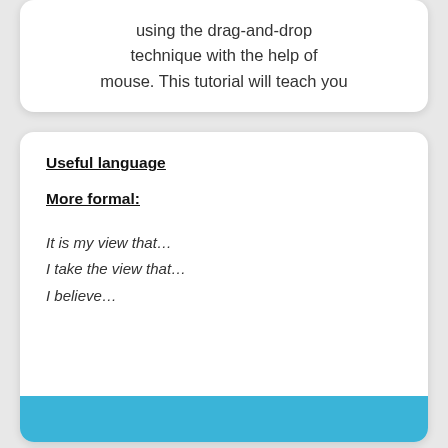using the drag-and-drop technique with the help of mouse. This tutorial will teach you
Useful language
More formal:
It is my view that…
I take the view that…
I believe…
Word 2010's outline feature allows you to group ideas or plot elements in a hierarchical fashion. You can then shuffle the topics around, make subtopics, and just